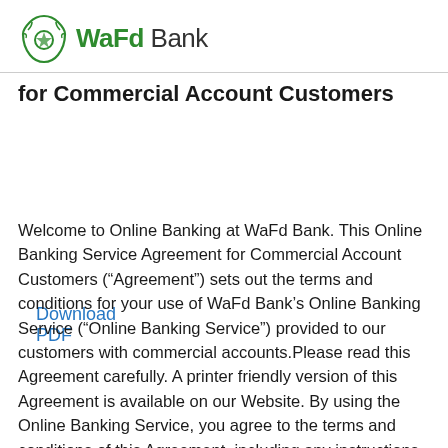WaFd Bank
for Commercial Account Customers
Download PDF
Welcome to Online Banking at WaFd Bank. This Online Banking Service Agreement for Commercial Account Customers (“Agreement”) sets out the terms and conditions for your use of WaFd Bank’s Online Banking Service (“Online Banking Service”) provided to our customers with commercial accounts.Please read this Agreement carefully. A printer friendly version of this Agreement is available on our Website. By using the Online Banking Service, you agree to the terms and conditions of this Agreement, including any instructions provided on our